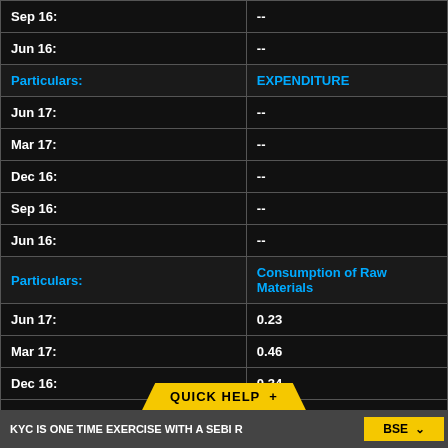| Particulars: | -- |
| --- | --- |
| Sep 16: | -- |
| Jun 16: | -- |
| Particulars: | EXPENDITURE |
| --- | --- |
| Jun 17: | -- |
| Mar 17: | -- |
| Dec 16: | -- |
| Sep 16: | -- |
| Jun 16: | -- |
| Particulars: | Consumption of Raw Materials |
| --- | --- |
| Jun 17: | 0.23 |
| Mar 17: | 0.46 |
| Dec 16: | 0.34 |
| Sep 16: | 0.32 |
| Jun 16: |  |
KYC IS ONE TIME EXERCISE WITH A SEBI R   BSE